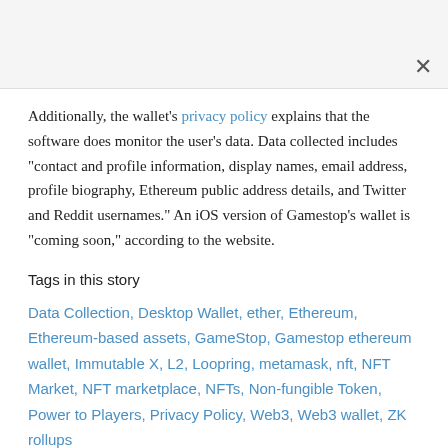Additionally, the wallet's privacy policy explains that the software does monitor the user's data. Data collected includes "contact and profile information, display names, email address, profile biography, Ethereum public address details, and Twitter and Reddit usernames." An iOS version of Gamestop's wallet is "coming soon," according to the website.
Tags in this story
Data Collection, Desktop Wallet, ether, Ethereum, Ethereum-based assets, GameStop, Gamestop ethereum wallet, Immutable X, L2, Loopring, metamask, nft, NFT Market, NFT marketplace, NFTs, Non-fungible Token, Power to Players, Privacy Policy, Web3, Web3 wallet, ZK rollups